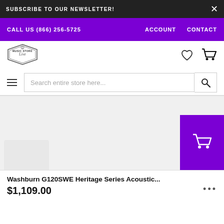SUBSCRIBE TO OUR NEWSLETTER!
CALL US (866) 256-5725  ACCOUNT  CONTACT
[Figure (logo): Music Store Live logo badge]
Search entire store here...
Washburn G120SWE Heritage Series Acoustic...
$1,109.00